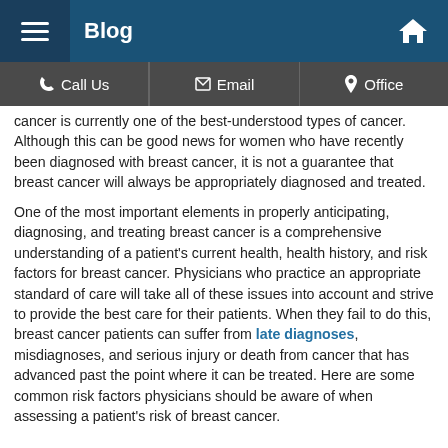Blog
Call Us | Email | Office
cancer is currently one of the best-understood types of cancer. Although this can be good news for women who have recently been diagnosed with breast cancer, it is not a guarantee that breast cancer will always be appropriately diagnosed and treated.
One of the most important elements in properly anticipating, diagnosing, and treating breast cancer is a comprehensive understanding of a patient's current health, health history, and risk factors for breast cancer. Physicians who practice an appropriate standard of care will take all of these issues into account and strive to provide the best care for their patients. When they fail to do this, breast cancer patients can suffer from late diagnoses, misdiagnoses, and serious injury or death from cancer that has advanced past the point where it can be treated. Here are some common risk factors physicians should be aware of when assessing a patient's risk of breast cancer.
General Risk Factors